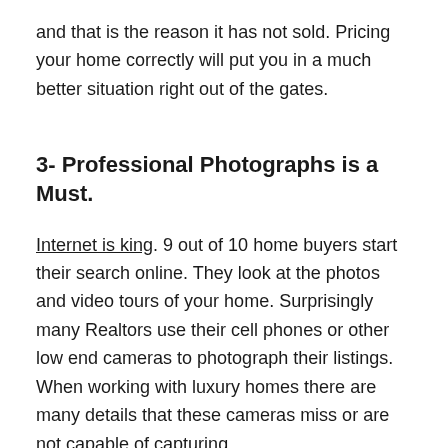and that is the reason it has not sold. Pricing your home correctly will put you in a much better situation right out of the gates.
3- Professional Photographs is a Must.
Internet is king. 9 out of 10 home buyers start their search online. They look at the photos and video tours of your home. Surprisingly many Realtors use their cell phones or other low end cameras to photograph their listings. When working with luxury homes there are many details that these cameras miss or are not capable of capturing.
Working with a professional photographer is something that our team insists on. Most of the time you will want to